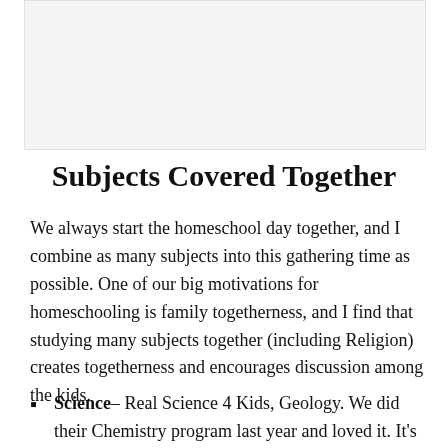[Figure (other): Image placeholder at the top of the page]
Subjects Covered Together
We always start the homeschool day together, and I combine as many subjects into this gathering time as possible. One of our big motivations for homeschooling is family togetherness, and I find that studying many subjects together (including Religion) creates togetherness and encourages discussion among the kids.
Science– Real Science 4 Kids, Geology. We did their Chemistry program last year and loved it. It's